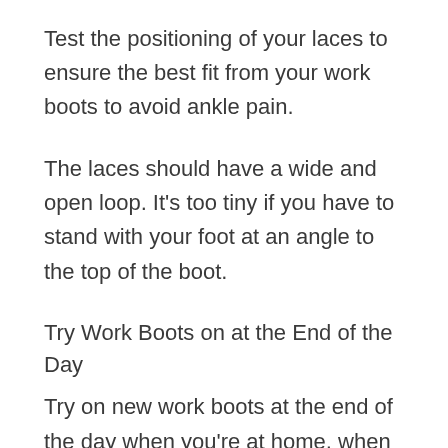Test the positioning of your laces to ensure the best fit from your work boots to avoid ankle pain.
The laces should have a wide and open loop. It's too tiny if you have to stand with your foot at an angle to the top of the boot.
Try Work Boots on at the End of the Day
Try on new work boots at the end of the day when you're at home, when your feet are more relaxed, swelling is reduced, and you may be